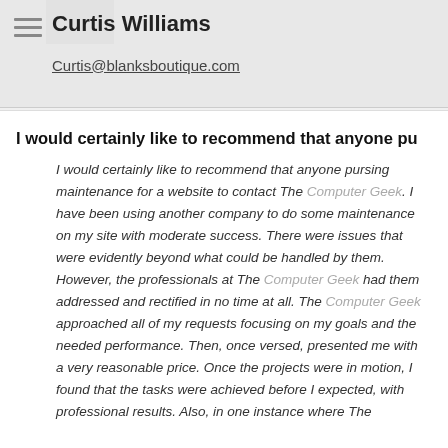Curtis Williams
Curtis@blanksboutique.com
I would certainly like to recommend that anyone pu
I would certainly like to recommend that anyone pursing maintenance for a website to contact The Computer Geek. I have been using another company to do some maintenance on my site with moderate success. There were issues that were evidently beyond what could be handled by them. However, the professionals at The Computer Geek had them addressed and rectified in no time at all. The Computer Geek approached all of my requests focusing on my goals and the needed performance. Then, once versed, presented me with a very reasonable price. Once the projects were in motion, I found that the tasks were achieved before I expected, with professional results. Also, in one instance where The Computer Geek had to give importance notification that